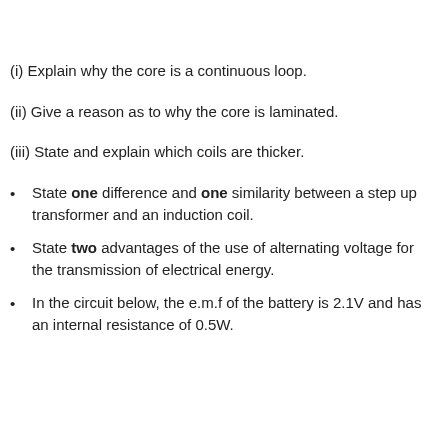(i) Explain why the core is a continuous loop.
(ii) Give a reason as to why the core is laminated.
(iii) State and explain which coils are thicker.
State one difference and one similarity between a step up transformer and an induction coil.
State two advantages of the use of alternating voltage for the transmission of electrical energy.
In the circuit below, the e.m.f of the battery is 2.1V and has an internal resistance of 0.5W.